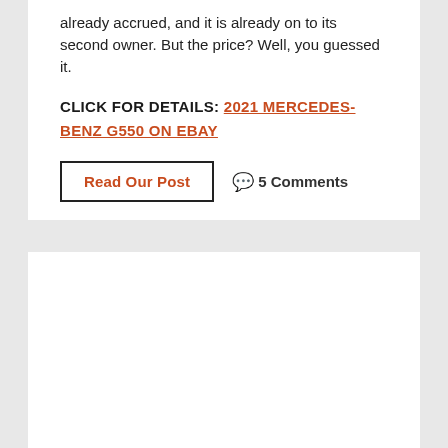already accrued, and it is already on to its second owner. But the price? Well, you guessed it.
CLICK FOR DETAILS: 2021 MERCEDES-BENZ G550 ON EBAY
Read Our Post
5 Comments